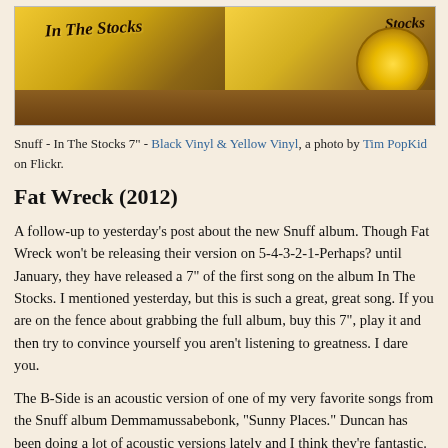[Figure (photo): Photo of two Snuff - In The Stocks 7-inch vinyl records (black and yellow vinyl) on a wooden surface]
Snuff - In The Stocks 7" - Black Vinyl & Yellow Vinyl, a photo by Tim PopKid on Flickr.
Fat Wreck (2012)
A follow-up to yesterday's post about the new Snuff album. Though Fat Wreck won't be releasing their version on 5-4-3-2-1-Perhaps? until January, they have released a 7" of the first song on the album In The Stocks. I mentioned yesterday, but this is such a great, great song. If you are on the fence about grabbing the full album, buy this 7", play it and then try to convince yourself you aren't listening to greatness. I dare you.
The B-Side is an acoustic version of one of my very favorite songs from the Snuff album Demmamussabebonk, "Sunny Places." Duncan has been doing a lot of acoustic versions lately and I think they're fantastic. We'll talk a bit more about that tomorrow, but for